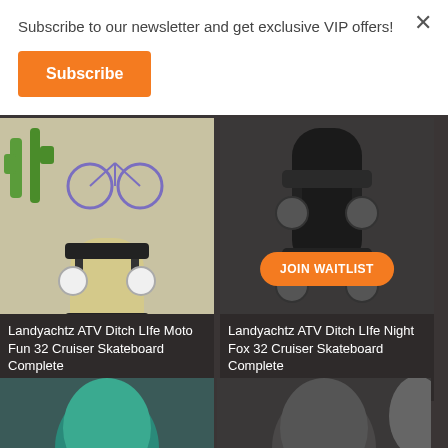Subscribe to our newsletter and get exclusive VIP offers!
Subscribe
[Figure (photo): Landyachtz ATV Ditch LIfe Moto Fun 32 Cruiser Skateboard Complete product image showing desert-themed skateboard deck with bicycle graphic, black trucks and white wheels]
Landyachtz ATV Ditch LIfe Moto Fun 32 Cruiser Skateboard Complete
$379.99
[Figure (photo): Landyachtz ATV Ditch LIfe Night Fox 32 Cruiser Skateboard Complete product image showing all-black skateboard deck with dark trucks and wheels, OUT OF STOCK banner and JOIN WAITLIST button]
OUT OF STOCK
JOIN WAITLIST
Landyachtz ATV Ditch LIfe Night Fox 32 Cruiser Skateboard Complete
$339.99
[Figure (photo): Partially visible skateboard deck with teal/green color, bottom row product]
[Figure (photo): Partially visible skateboard deck with dark gray/black color, bottom row product]